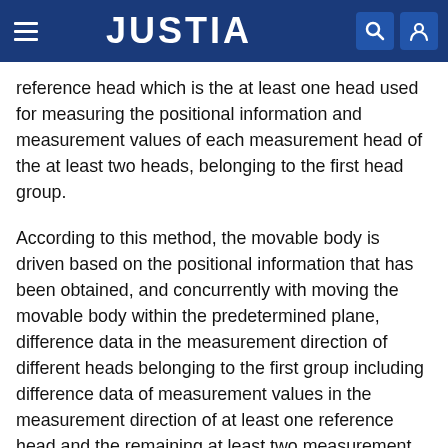JUSTIA
reference head which is the at least one head used for measuring the positional information and measurement values of each measurement head of the at least two heads, belonging to the first head group.
According to this method, the movable body is driven based on the positional information that has been obtained, and concurrently with moving the movable body within the predetermined plane, difference data in the measurement direction of different heads belonging to the first group including difference data of measurement values in the measurement direction of at least one reference head and the remaining at least two measurement heads, respectively, which are used for obtaining the positional information belonging to the first head group are taken in, and based on the difference data which has been taken in, calibration is